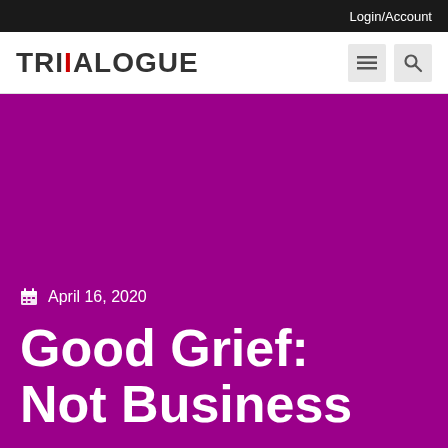Login/Account
[Figure (logo): Trialogue logo with red dot on the i]
April 16, 2020
Good Grief: Not Business